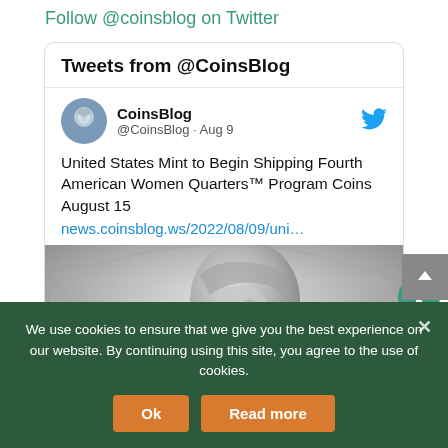Follow @coinsblog on Twitter
Tweets from @CoinsBlog
CoinsBlog @CoinsBlog · Aug 9
United States Mint to Begin Shipping Fourth American Women Quarters™ Program Coins August 15
news.coinsblog.ws/2022/08/09/uni…
[Figure (photo): Close-up photograph of a coin showing a portrait face in profile, gray tones]
We use cookies to ensure that we give you the best experience on our website. By continuing using this site, you agree to the use of cookies.
Ok
Read more